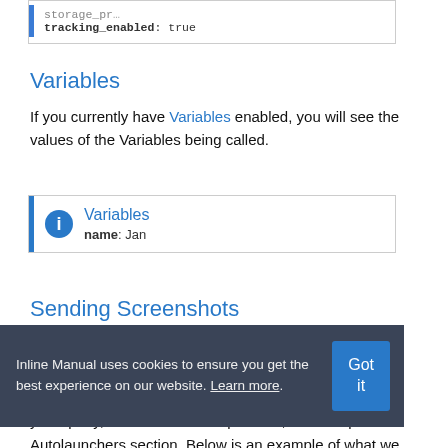[Figure (screenshot): Code/config box showing 'tracking_enabled: true' with blue left border]
Variables
If you currently have Variables enabled, you will see the values of the Variables being called.
[Figure (screenshot): Info box with blue info icon showing 'Variables' header and 'name: Jan' below]
Sending Screenshots
We would recommend customers to send us a screenshot of their status tool when submitting a support ticket. This would save time for both of us first...
you know which part of the status tool is relevant to your query, then send us that part of it, for example the Autolaunchers section. Below is an example of what we
[Figure (screenshot): Cookie consent banner: 'Inline Manual uses cookies to ensure you get the best experience on our website. Learn more.' with 'Got it' button]